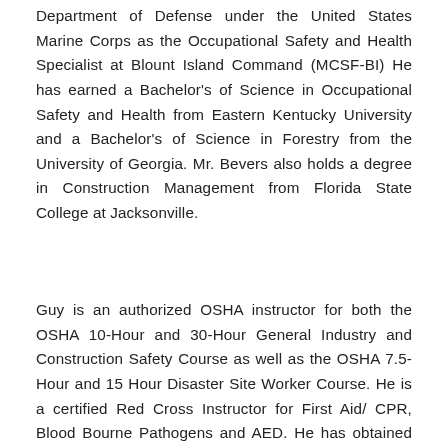Department of Defense under the United States Marine Corps as the Occupational Safety and Health Specialist at Blount Island Command (MCSF-BI) He has earned a Bachelor's of Science in Occupational Safety and Health from Eastern Kentucky University and a Bachelor's of Science in Forestry from the University of Georgia. Mr. Bevers also holds a degree in Construction Management from Florida State College at Jacksonville.
Guy is an authorized OSHA instructor for both the OSHA 10-Hour and 30-Hour General Industry and Construction Safety Course as well as the OSHA 7.5-Hour and 15 Hour Disaster Site Worker Course. He is a certified Red Cross Instructor for First Aid/ CPR, Blood Bourne Pathogens and AED. He has obtained his ASP